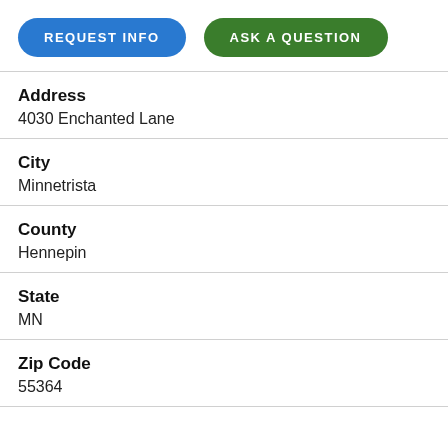REQUEST INFO
ASK A QUESTION
Address
4030 Enchanted Lane
City
Minnetrista
County
Hennepin
State
MN
Zip Code
55364